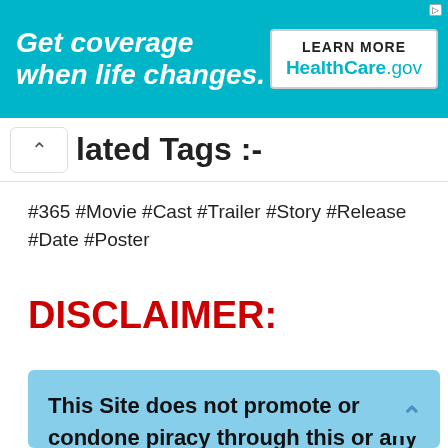[Figure (screenshot): HealthCare.gov advertisement banner: teal background with italic bold white text 'Get coverage when life changes.' and a white box with 'LEARN MORE' and 'HealthCare.gov']
lated Tags :-
#365 #Movie #Cast #Trailer #Story #Release #Date #Poster
DISCLAIMER:
This Site does not promote or condone piracy through this or any other website. Piracy is an act of crime and is considered a serious offense under the Copyright Act of